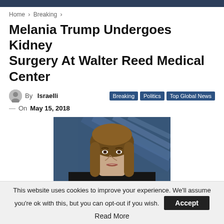Home > Breaking >
Melania Trump Undergoes Kidney Surgery At Walter Reed Medical Center
By Israelli | Breaking | Politics | Top Global News
On May 15, 2018
[Figure (photo): Portrait photo of Melania Trump with long brown hair, wearing dark clothing, with a blue geometric background]
This website uses cookies to improve your experience. We'll assume you're ok with this, but you can opt-out if you wish. Accept Read More